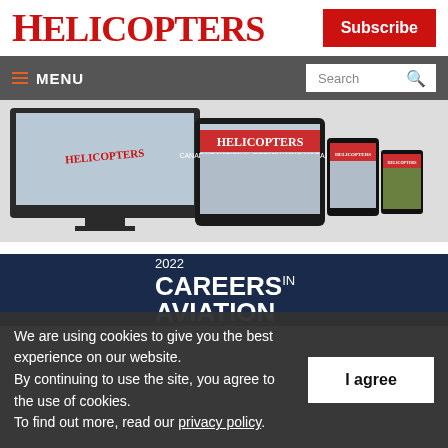HELICOPTERS
Subscribe
≡ MENU  Search
[Figure (screenshot): Promotional image showing Helicopters magazine displayed on desktop monitor, tablet, and phone devices]
[Figure (screenshot): 2022 Careers in Aviation banner advertisement with dark blue gradient background]
We are using cookies to give you the best experience on our website. By continuing to use the site, you agree to the use of cookies. To find out more, read our privacy policy.
I agree